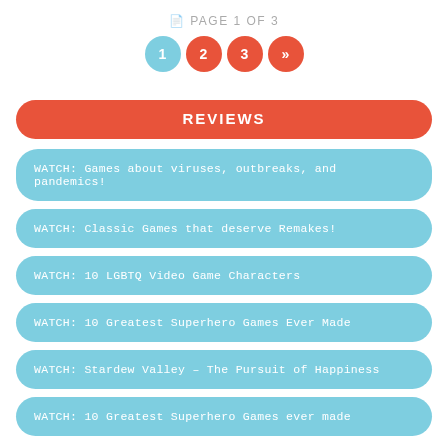PAGE 1 OF 3
1
2
3
»
REVIEWS
WATCH: Games about viruses, outbreaks, and pandemics!
WATCH: Classic Games that deserve Remakes!
WATCH: 10 LGBTQ Video Game Characters
WATCH: 10 Greatest Superhero Games Ever Made
WATCH: Stardew Valley – The Pursuit of Happiness
WATCH: 10 Greatest Superhero Games ever made